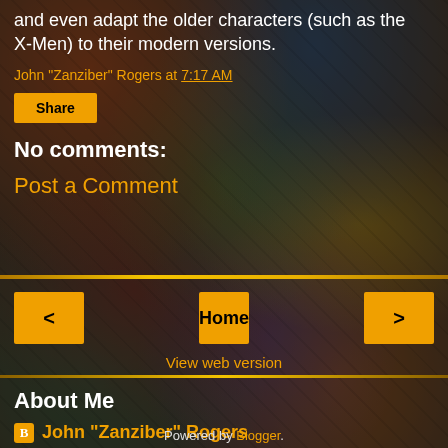and even adapt the older characters (such as the X-Men) to their modern versions.
John "Zanziber" Rogers at 7:17 AM
Share
No comments:
Post a Comment
< Home >
View web version
About Me
John "Zanziber" Rogers
View my complete profile
Powered by Blogger.